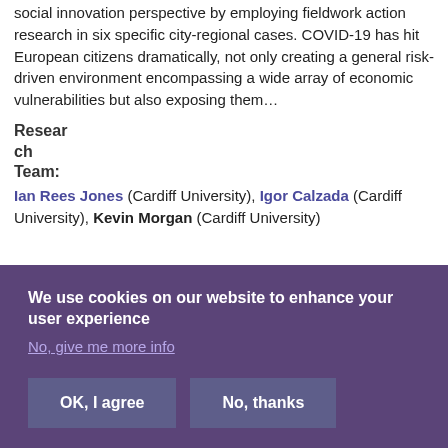social innovation perspective by employing fieldwork action research in six specific city-regional cases. COVID-19 has hit European citizens dramatically, not only creating a general risk-driven environment encompassing a wide array of economic vulnerabilities but also exposing them…
Research Team: Ian Rees Jones (Cardiff University), Igor Calzada (Cardiff University), Kevin Morgan (Cardiff University)
We use cookies on our website to enhance your user experience
No, give me more info
OK, I agree   No, thanks